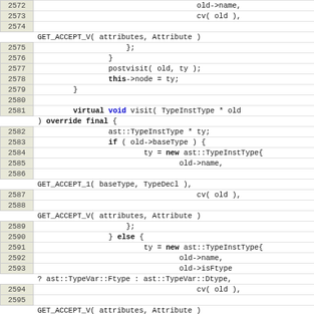Source code listing, lines 2572-2598, C++ with line numbers and macro expansions